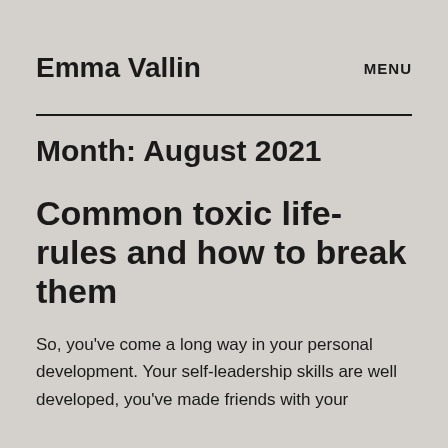Emma Vallin   MENU
Month: August 2021
Common toxic life-rules and how to break them
So, you've come a long way in your personal development. Your self-leadership skills are well developed, you've made friends with your